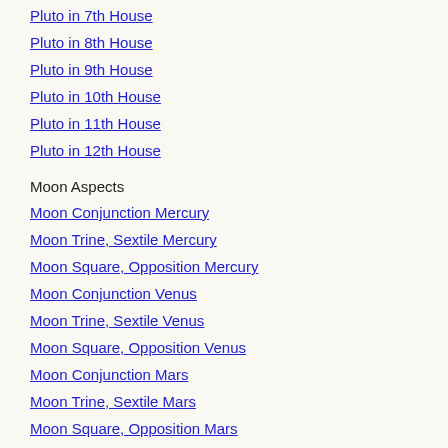Pluto in 7th House
Pluto in 8th House
Pluto in 9th House
Pluto in 10th House
Pluto in 11th House
Pluto in 12th House
Moon Aspects
Moon Conjunction Mercury
Moon Trine, Sextile Mercury
Moon Square, Opposition Mercury
Moon Conjunction Venus
Moon Trine, Sextile Venus
Moon Square, Opposition Venus
Moon Conjunction Mars
Moon Trine, Sextile Mars
Moon Square, Opposition Mars
Moon Conjunction Jupiter
Moon Trine, Sextile Jupiter
Moon Square, Opposition Jupiter
Moon Conjunction Saturn
Moon Trine, Sextile Saturn
Moon Square, Opposition Saturn
Moon Conjunction Uranus
Moon Trine, Sextile Uranus
Moon Square, Opposition Uranus